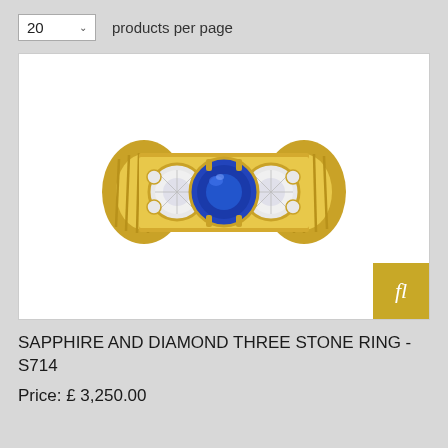20  products per page
[Figure (photo): A sapphire and diamond three stone ring set in yellow gold, featuring a central oval blue sapphire flanked by two round old-cut diamonds, with small diamond accents, on a ridged gold band.]
SAPPHIRE AND DIAMOND THREE STONE RING - S714
Price: £ 3,250.00